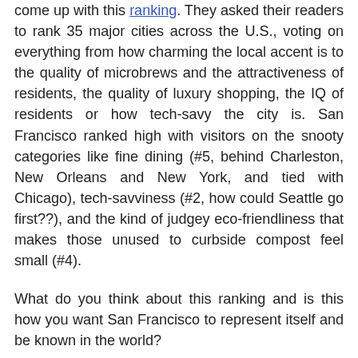come up with this ranking. They asked their readers to rank 35 major cities across the U.S., voting on everything from how charming the local accent is to the quality of microbrews and the attractiveness of residents, the quality of luxury shopping, the IQ of residents or how tech-savy the city is. San Francisco ranked high with visitors on the snooty categories like fine dining (#5, behind Charleston, New Orleans and New York, and tied with Chicago), tech-savviness (#2, how could Seattle go first??), and the kind of judgey eco-friendliness that makes those unused to curbside compost feel small (#4).
What do you think about this ranking and is this how you want San Francisco to represent itself and be known in the world?
Do you want to know which cities follow San Francisco in the ranking? Here they are:
San Francisco
New York City
Boston
Minneapolis/St. Paul